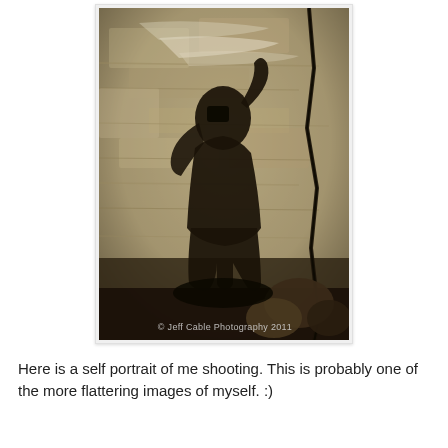[Figure (photo): A shadow self-portrait of a person holding a camera above their head, cast on a rough stone or concrete wall. The shadow shows a figure from the waist up. A crack runs diagonally down the right side of the wall. Watermark reads '© Jeff Cable Photography 2011'.]
Here is a self portrait of me shooting. This is probably one of the more flattering images of myself. :)